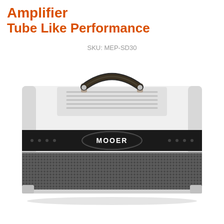Amplifier
Tube Like Performance
SKU: MEP-SD30
[Figure (photo): Front view of a Mooer brand guitar amplifier head unit with white/light grey tolex covering, black front panel with MOOER logo badge, ventilation grille cloth, and a black leather handle on top.]